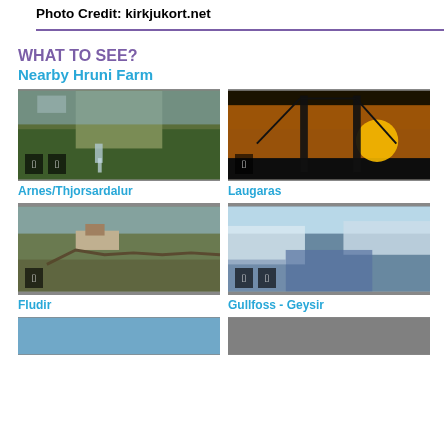Photo Credit: kirkjukort.net
WHAT TO SEE?
Nearby Hruni Farm
[Figure (photo): Valley with waterfall and green cliffs - Arnes/Thjorsardalur]
Arnes/Thjorsardalur
[Figure (photo): Suspension bridge silhouetted at sunset - Laugaras]
Laugaras
[Figure (photo): Rural landscape with road and buildings - Fludir]
Fludir
[Figure (photo): Snowy waterfall canyon - Gullfoss - Geysir]
Gullfoss - Geysir
[Figure (photo): Partially visible photo at bottom left]
[Figure (photo): Partially visible photo at bottom right]